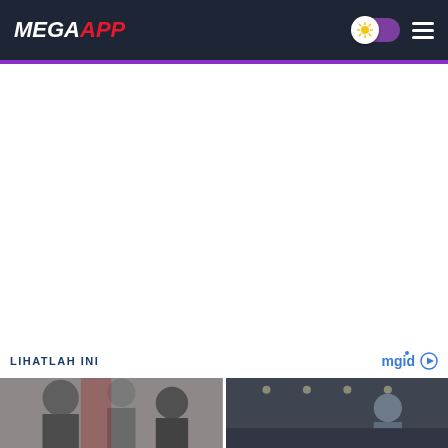MEGAAPP
[Figure (screenshot): Large white/blank advertisement or content area below the navigation header]
LIHATLAH INI
[Figure (photo): Two photo thumbnails side by side showing people, part of a content recommendation widget labeled mgid]
mgid